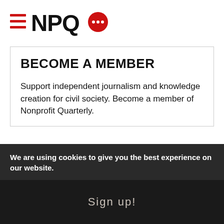[Figure (logo): NPQ (Nonprofit Quarterly) logo with hamburger menu icon, bold NPQ text, and red speech bubble with three dots]
BECOME A MEMBER
Support independent journalism and knowledge creation for civil society. Become a member of Nonprofit Quarterly.
Members receive unlimited access to our archived and upcoming digital content. NPQ is the leading journal in the nonprofit sector written by social change experts. Gain access to our exclusive library of
We are using cookies to give you the best experience on our website.
Sign up!